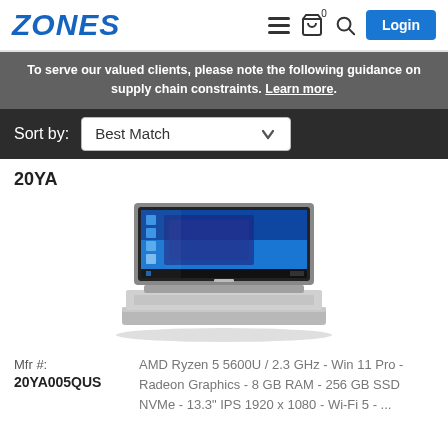ZONES
To serve our valued clients, please note the following guidance on supply chain constraints. Learn more.
Sort by: Best Match
20YA
[Figure (photo): Laptop computer (likely Lenovo ThinkBook 13s) with Windows 10 interface on screen, silver/gray chassis, shown at an angle]
Mfr #: 20YA005QUS
AMD Ryzen 5 5600U / 2.3 GHz - Win 11 Pro - Radeon Graphics - 8 GB RAM - 256 GB SSD NVMe - 13.3" IPS 1920 x 1080 - Wi-Fi 5 - ...